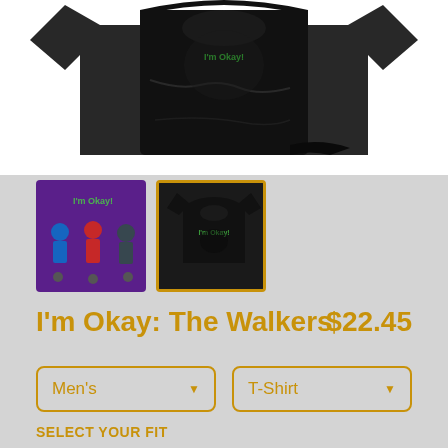[Figure (photo): Product photo of a black t-shirt folded/laid out against white background]
[Figure (photo): Two product thumbnails: left shows illustrated characters on purple background, right (selected with gold border) shows black t-shirt with design]
I'm Okay: The Walkers
$22.45
Men's (dropdown)
T-Shirt (dropdown)
SELECT YOUR FIT
$22.45 Regular
$27.95 Extra Soft